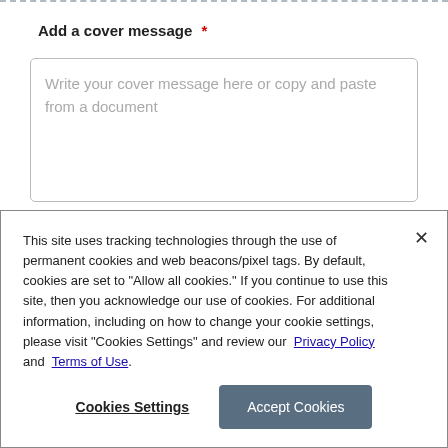Add a cover message *
Write your cover message here or copy and paste from a document
This site uses tracking technologies through the use of permanent cookies and web beacons/pixel tags. By default, cookies are set to "Allow all cookies." If you continue to use this site, then you acknowledge our use of cookies. For additional information, including on how to change your cookie settings, please visit "Cookies Settings" and review our  Privacy Policy and  Terms of Use.
Cookies Settings   Accept Cookies